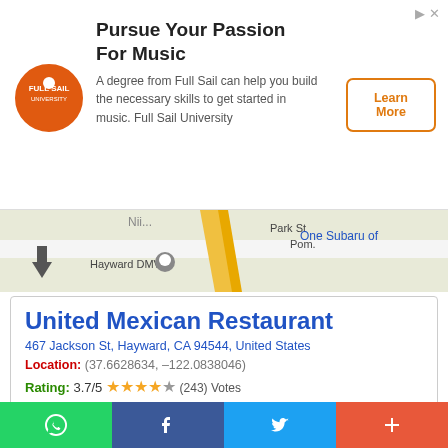[Figure (screenshot): Ad banner for Full Sail University with logo, headline 'Pursue Your Passion For Music', body text, and 'Learn More' button]
[Figure (map): Google Maps strip showing Hayward DMV area with Park St, Pont., and One Subaru of label]
United Mexican Restaurant
467 Jackson St, Hayward, CA 94544, United States
Location: (37.6628634, -122.0838046)
Rating: 3.7/5 ★★★★☆ (243) Votes
[Figure (screenshot): CONTACT DETAILS button in teal/cyan color]
[Figure (map): Google Maps showing Hayward Acres area with Kennedy Park, McDonald's label]
[Figure (screenshot): Bottom social sharing bar with WhatsApp, Facebook, Twitter, and More buttons]